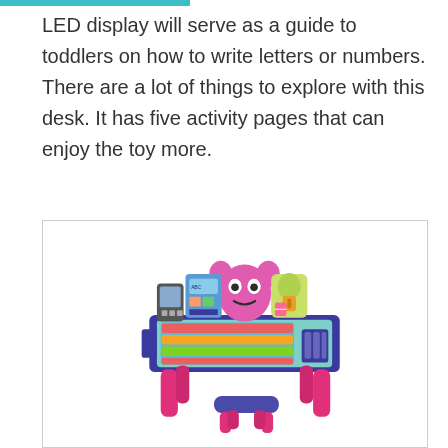LED display will serve as a guide to toddlers on how to write letters or numbers. There are a lot of things to explore with this desk. It has five activity pages that can enjoy the toy more.
[Figure (photo): A pink and purple VTech toddler activity desk with alphabet/number board surface, accessories and interactive panels on top, and a small purple stool in front. The desk has four pink legs and the stool has four pink legs.]